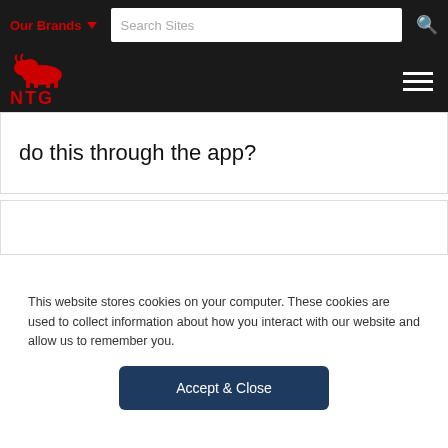Our Brands  Search Sites [NTG Logo]
do this through the app?
Can I access records of my NTG trips through Beon Carrier?
This website stores cookies on your computer. These cookies are used to collect information about how you interact with our website and allow us to remember you.